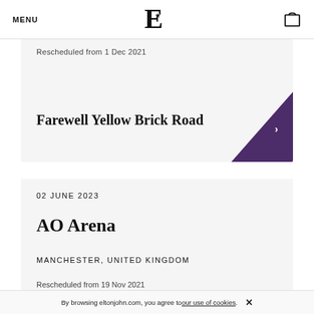MENU | E★ logo | bag icon
Rescheduled from 1 Dec 2021
Farewell Yellow Brick Road
02 JUNE 2023
AO Arena
MANCHESTER, UNITED KINGDOM
Rescheduled from 19 Nov 2021
By browsing eltonjohn.com, you agree to our use of cookies. ×